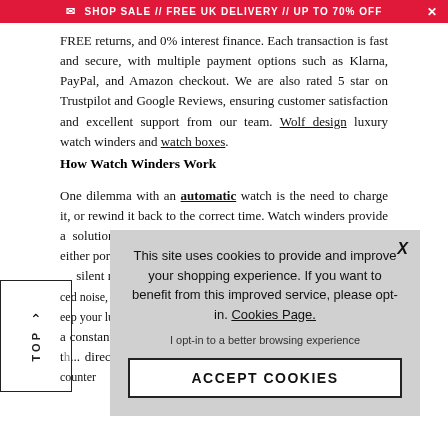SHOP SALE // FREE UK DELIVERY // UP TO 70% OFF
FREE returns, and 0% interest finance. Each transaction is fast and secure, with multiple payment options such as Klarna, PayPal, and Amazon checkout. We are also rated 5 star on Trustpilot and Google Reviews, ensuring customer satisfaction and excellent support from our team. Wolf design luxury watch winders and watch boxes.
How Watch Winders Work
One dilemma with an automatic watch is the need to charge it, or rewind it back to the correct time. Watch winders provide a solution, as they mimic the natu... time accurate ove... either portable batte... silent motors ...sible. Models w... ced noise, all wi... eep your luxury ... a constant moveme... winders offer a m... timekeeping over t... directional settings, allowing you to set them to clockwise, counter
[Figure (other): Cookie consent modal overlay with text: This site uses cookies to provide and improve your shopping experience. If you want to benefit from this improved service, please opt-in. Cookies Page. I opt-in to a better browsing experience. ACCEPT COOKIES button.]